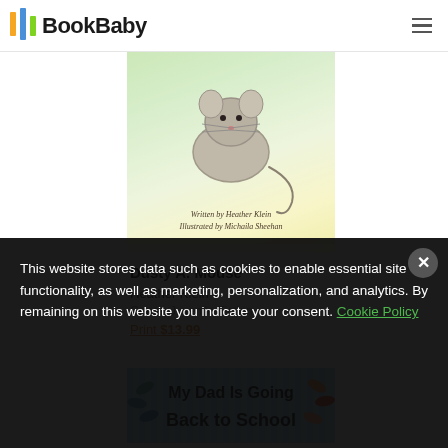BookBaby
[Figure (illustration): Book cover for 'Dusty A. Mouse' showing a mouse illustration with text 'Written by Heather Klein, Illustrated by Michaila Sheehan']
Dusty A. Mouse
Heather Klein
Genre: Juvenile Fiction
Print $13.99
[Figure (illustration): Book cover banner for 'My Dad Is Going Back to School' with colorful leaf/petal decorations on blue striped background]
This website stores data such as cookies to enable essential site functionality, as well as marketing, personalization, and analytics. By remaining on this website you indicate your consent. Cookie Policy